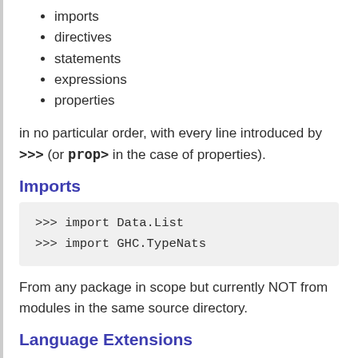imports
directives
statements
expressions
properties
in no particular order, with every line introduced by >>> (or prop> in the case of properties).
Imports
>>> import Data.List
>>> import GHC.TypeNats
From any package in scope but currently NOT from modules in the same source directory.
Language Extensions